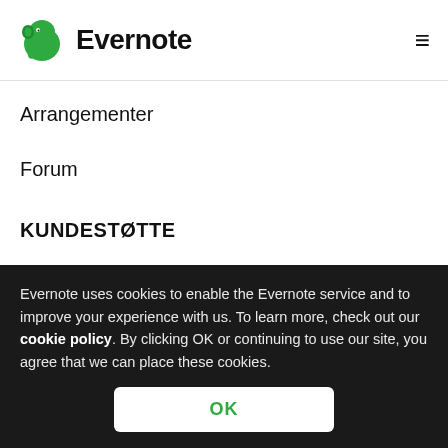Evernote
Arrangementer
Forum
KUNDESTØTTE
Hjelp og opplæring
Evernote uses cookies to enable the Evernote service and to improve your experience with us. To learn more, check out our cookie policy. By clicking OK or continuing to use our site, you agree that we can place these cookies.
OK